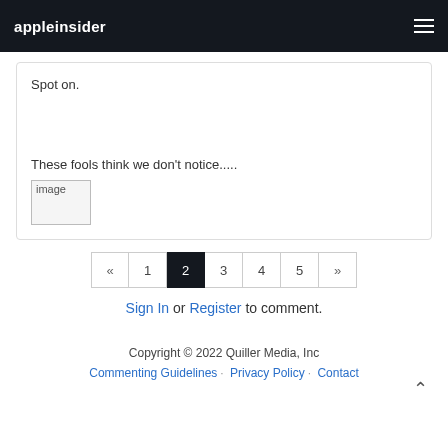appleinsider
Spot on.
These fools think we don’t notice.....
[Figure (other): Broken image placeholder]
« 1 2 3 4 5 » (pagination)
Sign In or Register to comment.
Copyright © 2022 Quiller Media, Inc
Commenting Guidelines · Privacy Policy · Contact